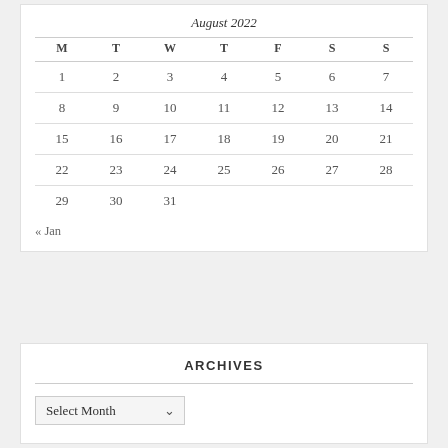August 2022
| M | T | W | T | F | S | S |
| --- | --- | --- | --- | --- | --- | --- |
| 1 | 2 | 3 | 4 | 5 | 6 | 7 |
| 8 | 9 | 10 | 11 | 12 | 13 | 14 |
| 15 | 16 | 17 | 18 | 19 | 20 | 21 |
| 22 | 23 | 24 | 25 | 26 | 27 | 28 |
| 29 | 30 | 31 |  |  |  |  |
« Jan
ARCHIVES
Select Month